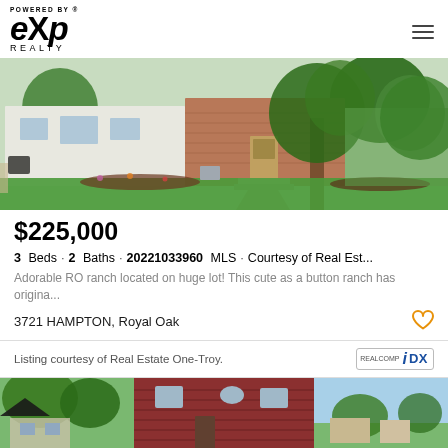[Figure (logo): eXp Realty logo - POWERED BY eXp REALTY wordmark]
[Figure (photo): Exterior photo of a ranch-style house with brick and white siding, large tree in front yard, green lawn, garden beds with landscaping]
$225,000
3 Beds · 2 Baths · 20221033960 MLS · Courtesy of Real Est...
Adorable RO ranch located on huge lot! This cute as a button ranch has origina...
3721 HAMPTON, Royal Oak
Listing courtesy of Real Estate One-Troy.
[Figure (logo): Realcomp IDX logo]
[Figure (photo): Bottom partial photos: left shows trees/house, center shows red/brown house siding, right shows blue sky]